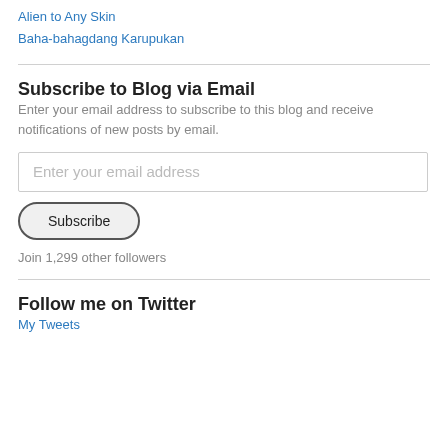Alien to Any Skin
Baha-bahagdang Karupukan
Subscribe to Blog via Email
Enter your email address to subscribe to this blog and receive notifications of new posts by email.
Enter your email address
Subscribe
Join 1,299 other followers
Follow me on Twitter
My Tweets